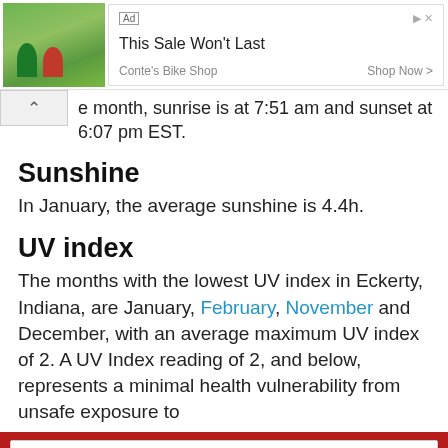[Figure (other): Advertisement banner: image of cyclists on left, text 'Ad', 'This Sale Won't Last', 'Conte's Bike Shop', 'Shop Now >' on right]
e month, sunrise is at 7:51 am and sunset at 6:07 pm EST.
Sunshine
In January, the average sunshine is 4.4h.
UV index
The months with the lowest UV index in Eckerty, Indiana, are January, February, November and December, with an average maximum UV index of 2. A UV Index reading of 2, and below, represents a minimal health vulnerability from unsafe exposure to
January
Today | Tomorrow | 10 days | Climate